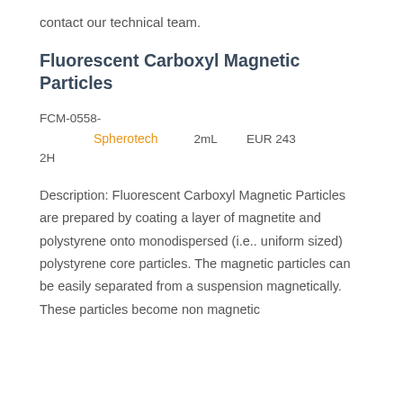contact our technical team.
Fluorescent Carboxyl Magnetic Particles
| Catalog ID | Supplier | Size | Price |
| --- | --- | --- | --- |
| FCM-0558-2H | Spherotech | 2mL | EUR 243 |
Description: Fluorescent Carboxyl Magnetic Particles are prepared by coating a layer of magnetite and polystyrene onto monodispersed (i.e.. uniform sized) polystyrene core particles. The magnetic particles can be easily separated from a suspension magnetically. These particles become non magnetic